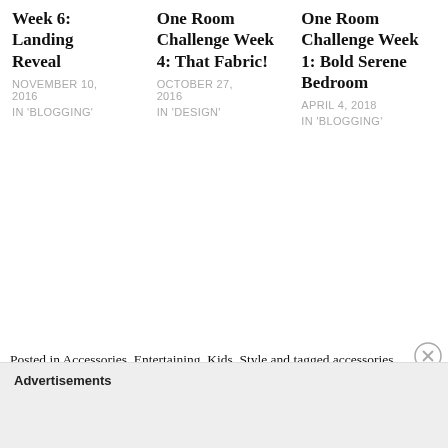Week 6: Landing Reveal
NOVEMBER 10, 2016
IN 'BLOGGING'
One Room Challenge Week 4: That Fabric!
OCTOBER 27, 2016
IN 'DESIGN'
One Room Challenge Week 1: Bold Serene Bedroom
APRIL 4, 2018
IN 'BLOGGING'
Posted in Accessories, Entertaining, Kids, Style and tagged accessories, backgammon, board games, cards, checkers, chess, coffee table styling, deluxe edition games, dominoes, family friendly design, family game night, family time, games, playing cards, poker, rummikub, tic tac toe, vintage
Advertisements